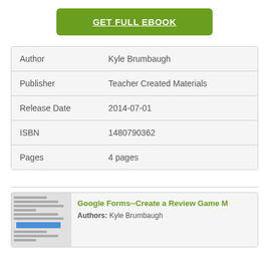[Figure (other): Green button labeled GET FULL EBOOK with white underlined bold text]
| Author | Kyle Brumbaugh |
| Publisher | Teacher Created Materials |
| Release Date | 2014-07-01 |
| ISBN | 1480790362 |
| Pages | 4 pages |
[Figure (screenshot): Thumbnail image of a document page on the left, with title Google Forms--Create a Review Game M and Authors: Kyle Brumbaugh text on the right]
Google Forms--Create a Review Game M
Authors: Kyle Brumbaugh